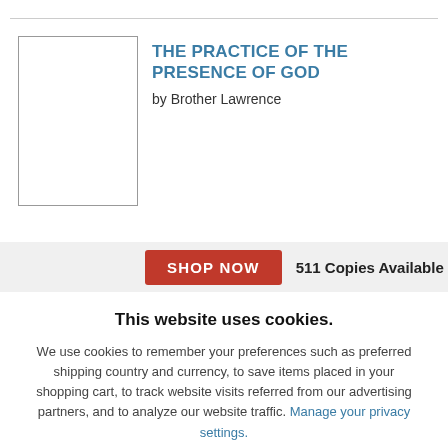[Figure (illustration): Book cover placeholder — white rectangle with black border]
THE PRACTICE OF THE PRESENCE OF GOD
by Brother Lawrence
SHOP NOW
511 Copies Available
This website uses cookies.
We use cookies to remember your preferences such as preferred shipping country and currency, to save items placed in your shopping cart, to track website visits referred from our advertising partners, and to analyze our website traffic. Manage your privacy settings.
AGREE AND CLOSE